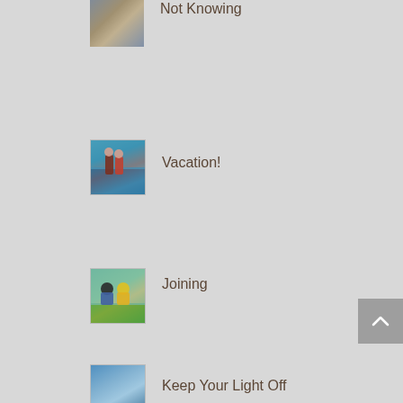Not Knowing
[Figure (photo): Thumbnail photo showing a stone wall or fortification with a town view below, likely a Mediterranean coastal scene.]
Vacation!
[Figure (photo): Thumbnail photo of two people standing on the bow of a boat with the sea in the background.]
Joining
[Figure (photo): Thumbnail photo of two people wearing bicycle helmets outdoors, with a green field in the background.]
Keep Your Light Off
[Figure (photo): Thumbnail photo partially visible at bottom, showing people outdoors.]